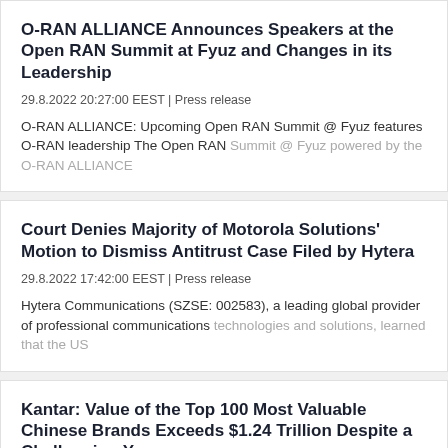O-RAN ALLIANCE Announces Speakers at the Open RAN Summit at Fyuz and Changes in its Leadership
29.8.2022 20:27:00 EEST | Press release
O-RAN ALLIANCE: Upcoming Open RAN Summit @ Fyuz features O-RAN leadership The Open RAN Summit @ Fyuz powered by the O-RAN ALLIANCE
Court Denies Majority of Motorola Solutions' Motion to Dismiss Antitrust Case Filed by Hytera
29.8.2022 17:42:00 EEST | Press release
Hytera Communications (SZSE: 002583), a leading global provider of professional communications technologies and solutions, learned that the US
Kantar: Value of the Top 100 Most Valuable Chinese Brands Exceeds $1.24 Trillion Despite a Challenging Year